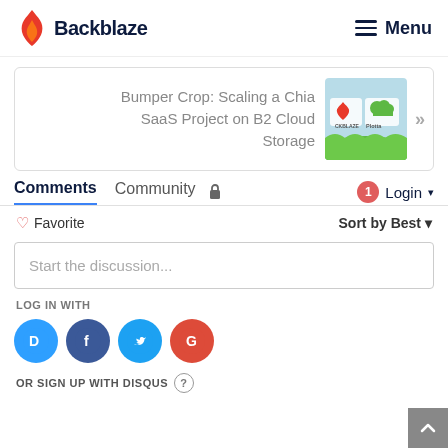Backblaze  Menu
[Figure (screenshot): Promo card: Bumper Crop: Scaling a Chia SaaS Project on B2 Cloud Storage, with Backblaze and Plotta logos on green grass background]
Comments  Community  🔒  1  Login ▾
♡ Favorite   Sort by Best ▾
Start the discussion...
LOG IN WITH
[Figure (logo): Social login icons: Disqus (D), Facebook (f), Twitter bird, Google (G)]
OR SIGN UP WITH DISQUS ?